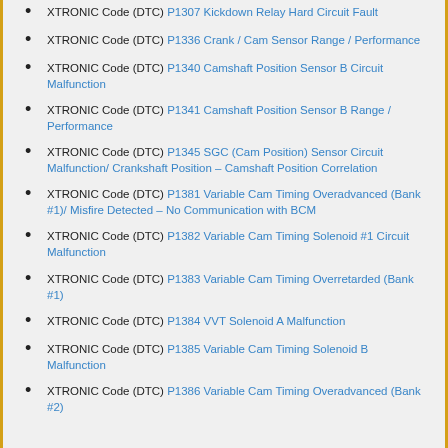XTRONIC Code (DTC) P1307 Kickdown Relay Hard Circuit Fault
XTRONIC Code (DTC) P1336 Crank / Cam Sensor Range / Performance
XTRONIC Code (DTC) P1340 Camshaft Position Sensor B Circuit Malfunction
XTRONIC Code (DTC) P1341 Camshaft Position Sensor B Range / Performance
XTRONIC Code (DTC) P1345 SGC (Cam Position) Sensor Circuit Malfunction/ Crankshaft Position - Camshaft Position Correlation
XTRONIC Code (DTC) P1381 Variable Cam Timing Overadvanced (Bank #1)/ Misfire Detected - No Communication with BCM
XTRONIC Code (DTC) P1382 Variable Cam Timing Solenoid #1 Circuit Malfunction
XTRONIC Code (DTC) P1383 Variable Cam Timing Overretarded (Bank #1)
XTRONIC Code (DTC) P1384 VVT Solenoid A Malfunction
XTRONIC Code (DTC) P1385 Variable Cam Timing Solenoid B Malfunction
XTRONIC Code (DTC) P1386 Variable Cam Timing Overadvanced (Bank #2)